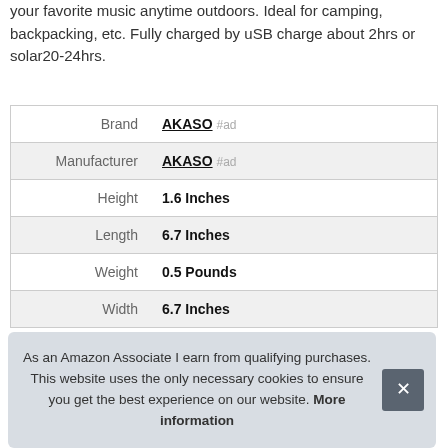your favorite music anytime outdoors. Ideal for camping, backpacking, etc. Fully charged by uSB charge about 2hrs or solar20-24hrs.
|  |  |
| --- | --- |
| Brand | AKASO #ad |
| Manufacturer | AKASO #ad |
| Height | 1.6 Inches |
| Length | 6.7 Inches |
| Weight | 0.5 Pounds |
| Width | 6.7 Inches |
As an Amazon Associate I earn from qualifying purchases. This website uses the only necessary cookies to ensure you get the best experience on our website. More information